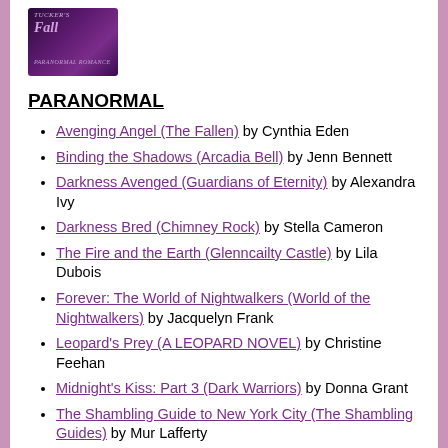[Figure (illustration): Book cover for Tucker's Fall with purple/dark gradient design and cursive title text]
PARANORMAL
Avenging Angel (The Fallen) by Cynthia Eden
Binding the Shadows (Arcadia Bell) by Jenn Bennett
Darkness Avenged (Guardians of Eternity) by Alexandra Ivy
Darkness Bred (Chimney Rock) by Stella Cameron
The Fire and the Earth (Glenncailty Castle) by Lila Dubois
Forever: The World of Nightwalkers (World of the Nightwalkers) by Jacquelyn Frank
Leopard's Prey (A LEOPARD NOVEL) by Christine Feehan
Midnight's Kiss: Part 3 (Dark Warriors) by Donna Grant
The Shambling Guide to New York City (The Shambling Guides) by Mur Lafferty